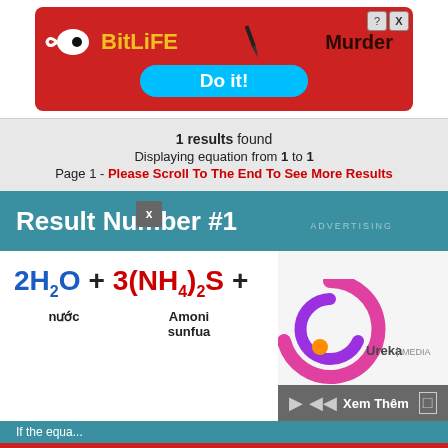[Figure (screenshot): BitLife mobile game advertisement banner with red background, yellow BitLife logo, 'Murder Do it!' text and a cyan button]
1 results found
Displaying equation from 1 to 1
Page 1 - Please Scroll To The End To See More Results
Result Number #1
nước    Amoni sunfua
[Figure (logo): Ureka Media logo with pink/purple spiral graphic and 'Ureka | MEDIA' text, with 'Xem Thêm' overlay bar]
If the equa...
Please scroll down to see more details and more of related Equation
Advertisement